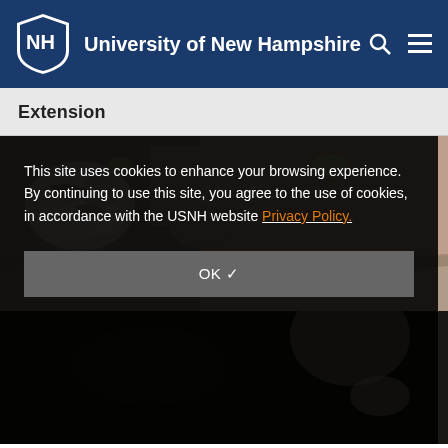University of New Hampshire
Extension
[Figure (photo): Close-up photograph of lichen growing on rock surface, showing crustose lichen with grey and white patches against pink/brown granite]
This site uses cookies to enhance your browsing experience. By continuing to use this site, you agree to the use of cookies, in accordance with the USNH website Privacy Policy.
OK ✓